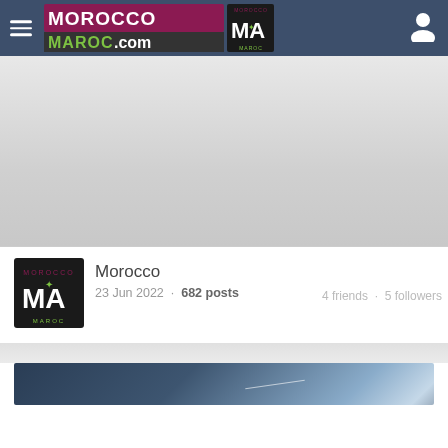MoroccoMaroc.com — Serving Moroccan Community With Pride !
[Figure (illustration): Gray banner/advertisement area below the header navigation bar]
[Figure (logo): Morocco MA Maroc logo square avatar image]
Morocco
23 Jun 2022  ·  682 posts
4 friends  ·  5 followers
[Figure (illustration): Dark blue to light blue gradient banner/image strip]